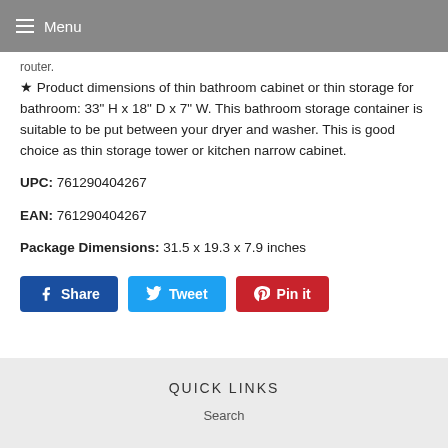Menu
router.
★ Product dimensions of thin bathroom cabinet or thin storage for bathroom: 33" H x 18" D x 7" W. This bathroom storage container is suitable to be put between your dryer and washer. This is good choice as thin storage tower or kitchen narrow cabinet.
UPC: 761290404267
EAN: 761290404267
Package Dimensions: 31.5 x 19.3 x 7.9 inches
[Figure (other): Social sharing buttons: Share (Facebook), Tweet (Twitter), Pin it (Pinterest)]
QUICK LINKS
Search